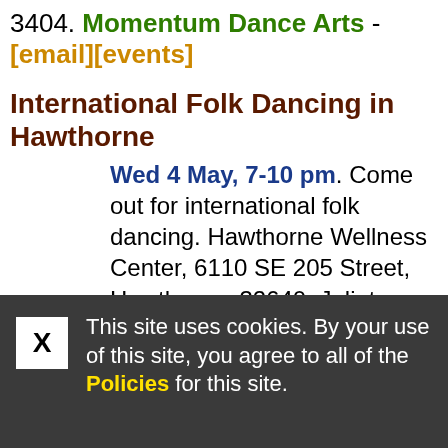3404. Momentum Dance Arts - [email][events]
International Folk Dancing in Hawthorne
Wed 4 May, 7-10 pm. Come out for international folk dancing. Hawthorne Wellness Center, 6110 SE 205 Street, Hawthorne, 32640. Julieta,
This site uses cookies. By your use of this site, you agree to all of the Policies for this site.